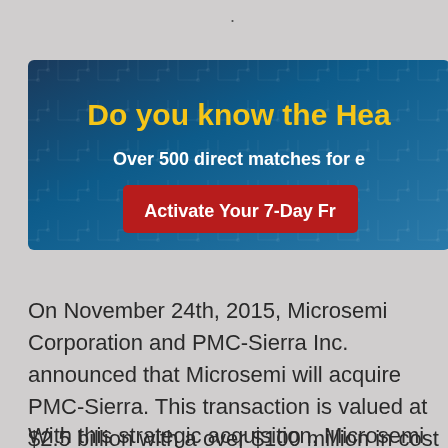[Figure (infographic): Dark blue banner advertisement with yellow bold heading 'Do you know the Hea[dlines]', white subtitle 'Over 500 direct matches for e[very story]', and a dark red button 'Activate Your 7-Day Fr[ee Trial]']
On November 24th, 2015, Microsemi Corporation and PMC-Sierra Inc. announced that Microsemi will acquire PMC-Sierra. This transaction is valued at $2.5 billion with a over $100 million in cost synergies.
With this strategic acquisition, Microsemi will be